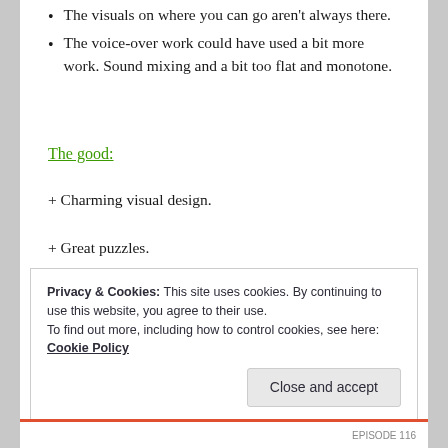The visuals on where you can go aren't always there.
The voice-over work could have used a bit more work. Sound mixing and a bit too flat and monotone.
The good:
+ Charming visual design.
+ Great puzzles.
Privacy & Cookies: This site uses cookies. By continuing to use this website, you agree to their use. To find out more, including how to control cookies, see here: Cookie Policy
Close and accept